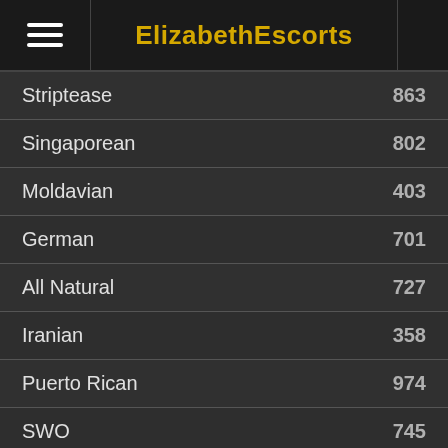ElizabethEscorts
Striptease 863
Singaporean 802
Moldavian 403
German 701
All Natural 727
Iranian 358
Puerto Rican 974
SWO 745